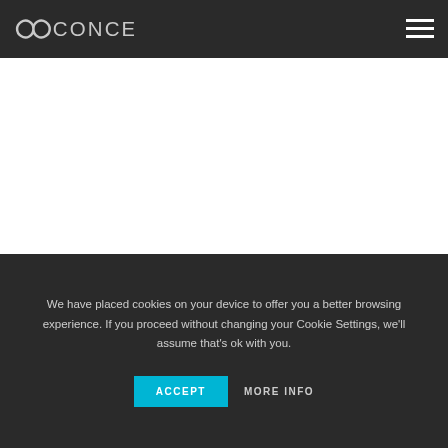CONCEPT
[Figure (screenshot): Search bar with text input placeholder 'Search...' and a dark 'Search' button]
We have placed cookies on your device to offer you a better browsing experience. If you proceed without changing your Cookie Settings, we'll assume that's ok with you.
ACCEPT   MORE INFO